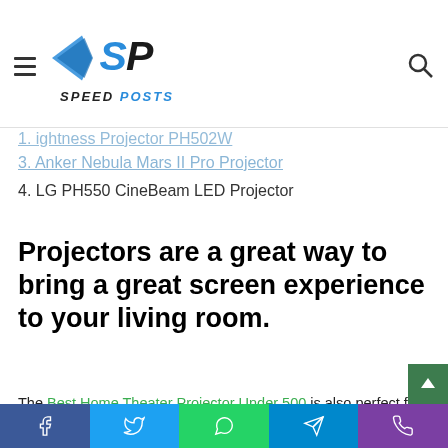Speed Posts logo and navigation header
1. [partially visible - brightness projector PH502W]
3. Anker Nebula Mars II Pro Projector
4. LG PH550 CineBeam LED Projector
Projectors are a great way to bring a great screen experience to your living room.
The Best Home Theater Projector Under 500 is also perfect for professional meetings and presentations. We've recently seen a trend for people who want their home theater hardware but can't afford it or buy a projector instead and find plenty of space in their home. In our opinion, it's better than TVs if you know what you need for it, especially with all the new
Facebook Twitter WhatsApp Telegram Phone social sharing bar